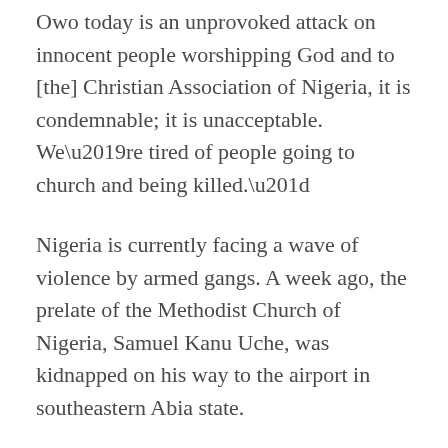Owo today is an unprovoked attack on innocent people worshipping God and to [the] Christian Association of Nigeria, it is condemnable; it is unacceptable. We’re tired of people going to church and being killed.”
Nigeria is currently facing a wave of violence by armed gangs. A week ago, the prelate of the Methodist Church of Nigeria, Samuel Kanu Uche, was kidnapped on his way to the airport in southeastern Abia state.